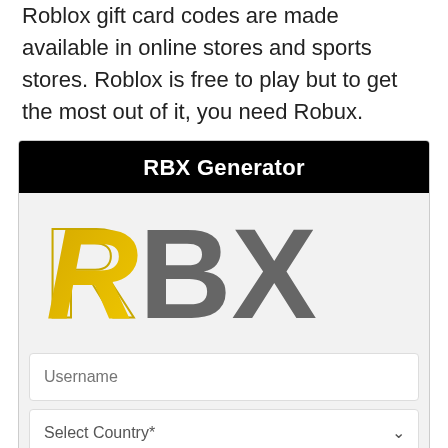Roblox gift card codes are made available in online stores and sports stores. Roblox is free to play but to get the most out of it, you need Robux.
[Figure (screenshot): RBX Generator widget with black header titled 'RBX Generator', a logo showing 'RBX' with a yellow R and gray BX letters on a light gray background, a Username text input field, and a Select Country dropdown field.]